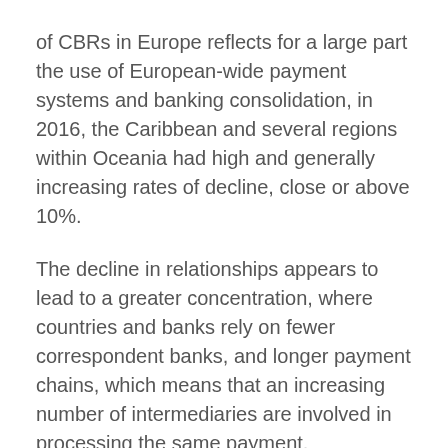of CBRs in Europe reflects for a large part the use of European-wide payment systems and banking consolidation, in 2016, the Caribbean and several regions within Oceania had high and generally increasing rates of decline, close or above 10%.
The decline in relationships appears to lead to a greater concentration, where countries and banks rely on fewer correspondent banks, and longer payment chains, which means that an increasing number of intermediaries are involved in processing the same payment. Relationship are most affected in smaller countries and jurisdictions for which the compliance with standards for anti-money laundering and combating the financing of terrorism (AML/CFT) is insufficient or unknown.